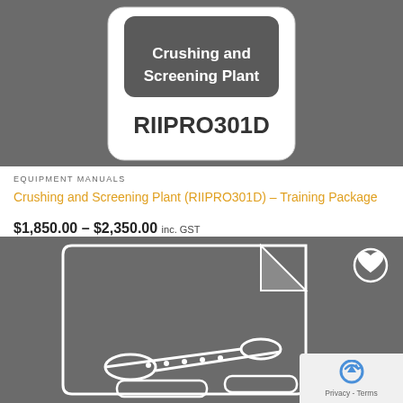[Figure (illustration): Gray background product thumbnail showing a document icon with 'Crushing and Screening Plant' text on a dark rounded rectangle label and 'RIIPRO301D' code below it]
EQUIPMENT MANUALS
Crushing and Screening Plant (RIIPRO301D) – Training Package
$1,850.00 – $2,350.00 inc. GST
[Figure (illustration): Gray background product thumbnail showing a document/page icon with a conveyor belt illustration and a wishlist heart button in the top right corner]